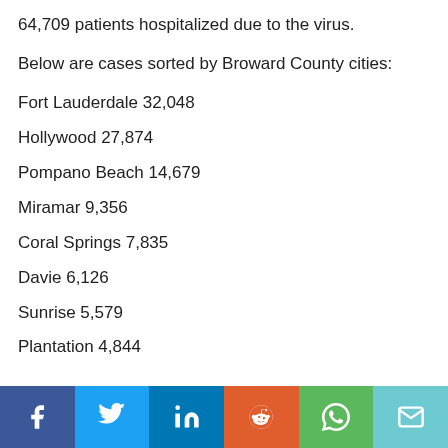64,709 patients hospitalized due to the virus.
Below are cases sorted by Broward County cities:
Fort Lauderdale 32,048
Hollywood 27,874
Pompano Beach 14,679
Miramar 9,356
Coral Springs 7,835
Davie 6,126
Sunrise 5,579
Plantation 4,844